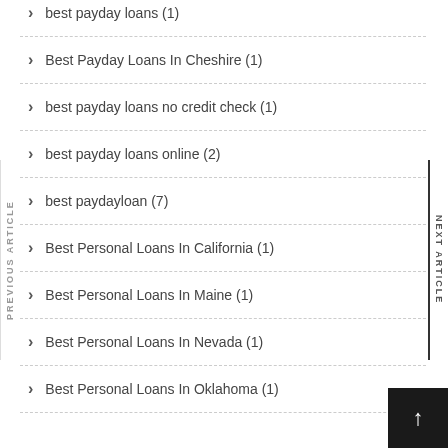best payday loans (1)
Best Payday Loans In Cheshire (1)
best payday loans no credit check (1)
best payday loans online (2)
best paydayloan (7)
Best Personal Loans In California (1)
Best Personal Loans In Maine (1)
Best Personal Loans In Nevada (1)
Best Personal Loans In Oklahoma (1)